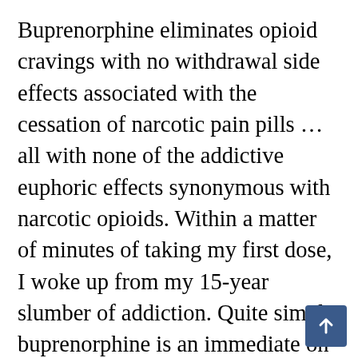Buprenorphine eliminates opioid cravings with no withdrawal side effects associated with the cessation of narcotic pain pills … all with none of the addictive euphoric effects synonymous with narcotic opioids. Within a matter of minutes of taking my first dose, I woke up from my 15-year slumber of addiction. Quite simply, buprenorphine is an immediate on-ramp to sobriety for opioid addicts with the desire to quit. I've been on a daily dose to this day and, although my RA is trying to take me out (I've since had both shoulders and both hips replaced and both wrists reconstructed), I liv